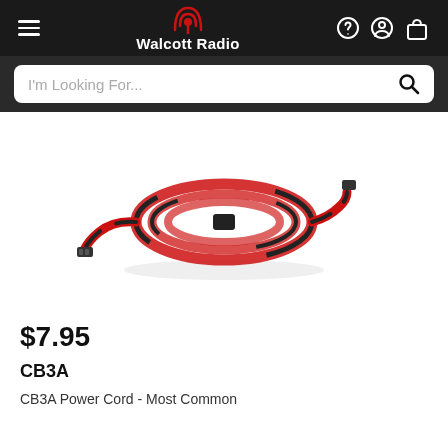Walcott Radio
[Figure (photo): A coiled red and black power cord (CB radio power cord) bundled with a zip tie, with connectors visible on both ends, on a white background.]
$7.95
CB3A
CB3A Power Cord - Most Common